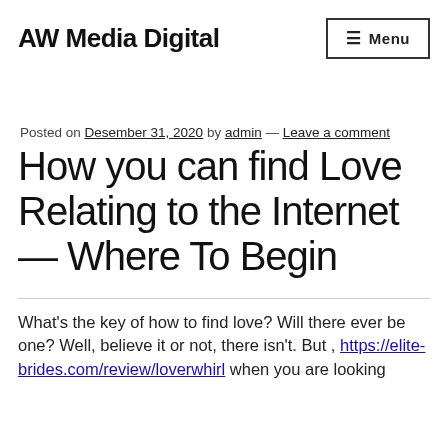AW Media Digital
Posted on Desember 31, 2020 by admin — Leave a comment
How you can find Love Relating to the Internet — Where To Begin
What's the key of how to find love? Will there ever be one? Well, believe it or not, there isn't. But , https://elite-brides.com/review/loverwhirl when you are looking…